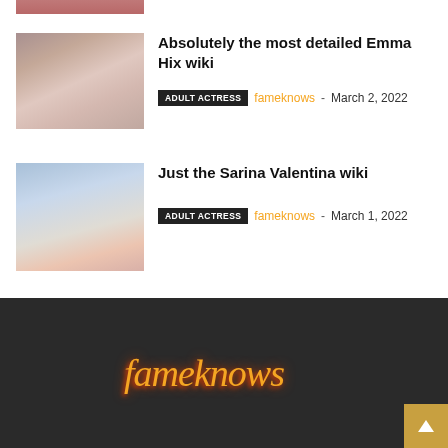[Figure (photo): Partial thumbnail of a woman at the top of the page, cropped]
[Figure (photo): Thumbnail photo of Emma Hix wearing a pink robe]
Absolutely the most detailed Emma Hix wiki
ADULT ACTRESS   fameknows - March 2, 2022
[Figure (photo): Thumbnail photo of Sarina Valentina with blonde hair]
Just the Sarina Valentina wiki
ADULT ACTRESS   fameknows - March 1, 2022
[Figure (logo): fameknows logo in orange italic script on dark background]